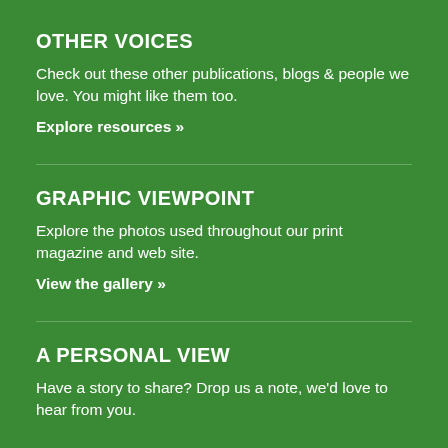OTHER VOICES
Check out these other publications, blogs & people we love. You might like them too.
Explore resources »
GRAPHIC VIEWPOINT
Explore the photos used throughout our print magazine and web site.
View the gallery »
A PERSONAL VIEW
Have a story to share? Drop us a note, we'd love to hear from you.